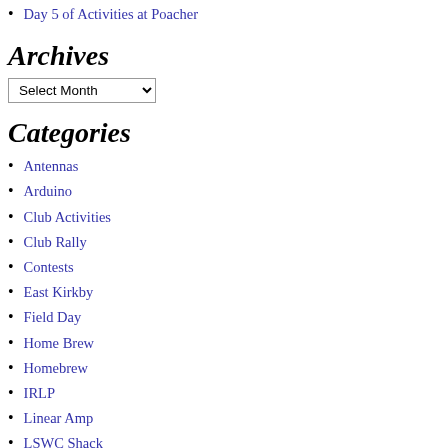Day 5 of Activities at Poacher
Archives
Select Month (dropdown)
Categories
Antennas
Arduino
Club Activities
Club Rally
Contests
East Kirkby
Field Day
Home Brew
Homebrew
IRLP
Linear Amp
LSWC Shack
Morse
Official Club Buisness